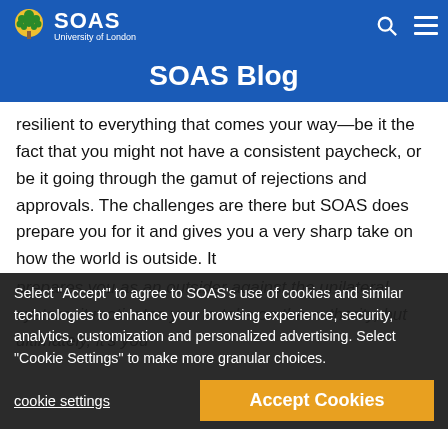SOAS University of London — SOAS Blog
SOAS Blog
resilient to everything that comes your way—be it the fact that you might not have a consistent paycheck, or be it going through the gamut of rejections and approvals. The challenges are there but SOAS does prepare you for it and gives you a very sharp take on how the world is outside. It
prepares you as an outsider against the unilateral system, it motivates you to take on the authority, but ultimately, it's you
Select "Accept" to agree to SOAS's use of cookies and similar technologies to enhance your browsing experience, security, analytics, customization and personalized advertising. Select "Cookie Settings" to make more granular choices.
Check out Kunal Purohit's work on his website or follow him on Twitter.